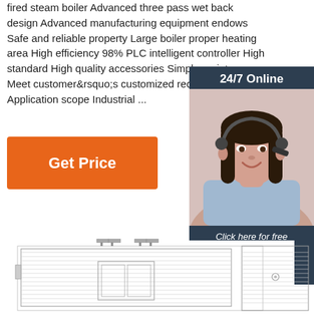fired steam boiler Advanced three pass wet back design Advanced manufacturing equipment endows Safe and reliable property Large boiler proper heating area High efficiency 98% PLC intelligent controller High standard High quality accessories Simple maintenance Meet customer&rsquo;s customized requirement Application scope Industrial ...
Get Price
[Figure (screenshot): 24/7 Online chat widget showing a woman with a headset, with 'Click here for free chat!' text and a QUOTATION button]
[Figure (engineering-diagram): Technical engineering diagram of a steam boiler showing front and side cross-section views with internal components]